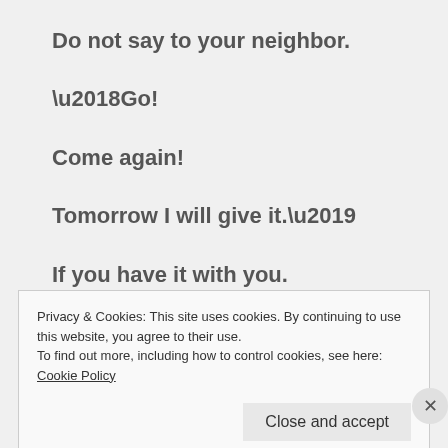Do not say to your neighbor.
‘Go!
Come again!
Tomorrow I will give it.’
If you have it with you.
Privacy & Cookies: This site uses cookies. By continuing to use this website, you agree to their use.
To find out more, including how to control cookies, see here: Cookie Policy
Close and accept